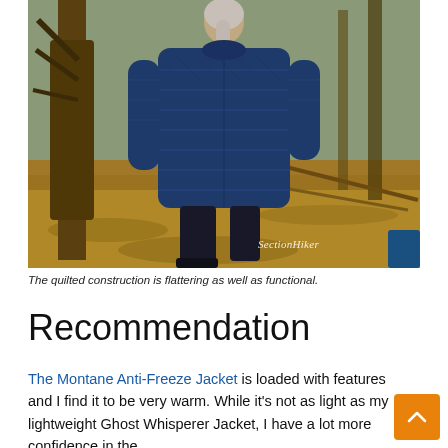[Figure (photo): A woman wearing a navy blue quilted down jacket (Montane Anti-Freeze Jacket) seen from behind, standing in a forest with bare leaf-covered ground. Her gray hair is in a ponytail. A SectionHiker watermark is visible in the lower right of the image.]
The quilted construction is flattering as well as functional.
Recommendation
The Montane Anti-Freeze Jacket is loaded with features and I find it to be very warm. While it's not as light as my lightweight Ghost Whisperer Jacket, I have a lot more confidence in the